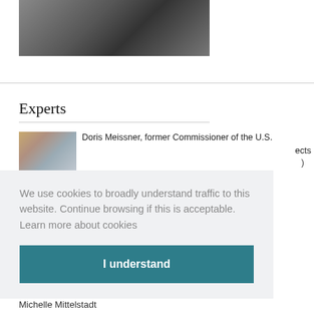[Figure (photo): Two people seated at a table during a meeting or panel event, with water bottles on the table.]
Experts
[Figure (photo): Small thumbnail photo of Doris Meissner.]
Doris Meissner, former Commissioner of the U.S. [Immigration and Naturalization Service] ...ects
We use cookies to broadly understand traffic to this website. Continue browsing if this is acceptable.  Learn more about cookies
I understand
Michelle Mittelstadt